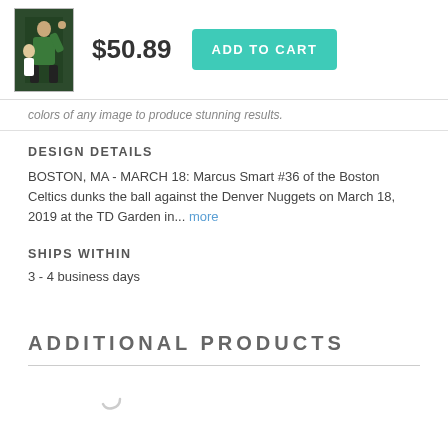[Figure (photo): Small thumbnail of a basketball player (Marcus Smart #36) in green Boston Celtics uniform dunking]
$50.89
ADD TO CART
colors of any image to produce stunning results.
DESIGN DETAILS
BOSTON, MA - MARCH 18: Marcus Smart #36 of the Boston Celtics dunks the ball against the Denver Nuggets on March 18, 2019 at the TD Garden in... more
SHIPS WITHIN
3 - 4 business days
ADDITIONAL PRODUCTS